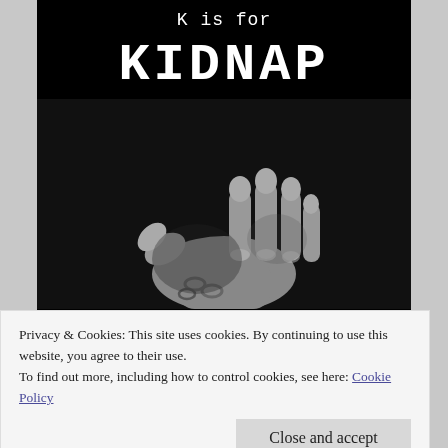[Figure (illustration): Book cover with black background. Top text 'K is for' in serif/monospace white font, large bold white text 'KIDNAP' below it, and a black-and-white photograph of a raised clenched fist/hand with chains visible at the wrist.]
Privacy & Cookies: This site uses cookies. By continuing to use this website, you agree to their use.
To find out more, including how to control cookies, see here: Cookie Policy
Close and accept